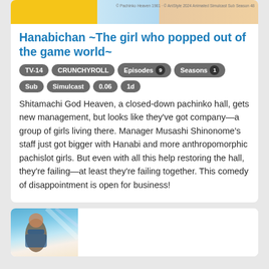[Figure (illustration): Top portion of anime card showing character artwork with yellow and blue tones]
Hanabichan ~The girl who popped out of the game world~
TV-14  CRUNCHYROLL  Episodes 9  Seasons 1  Sub  Simulcast  0.06  1d
Shitamachi God Heaven, a closed-down pachinko hall, gets new management, but looks like they've got company—a group of girls living there. Manager Musashi Shinonome's staff just got bigger with Hanabi and more anthropomorphic pachislot girls. But even with all this help restoring the hall, they're failing—at least they're failing together. This comedy of disappointment is open for business!
[Figure (illustration): Bottom card showing anime character artwork with blue sky background]